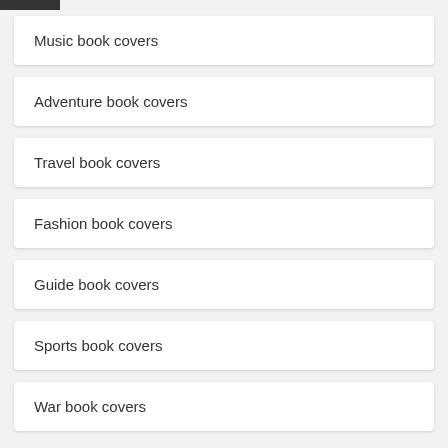Music book covers
Adventure book covers
Travel book covers
Fashion book covers
Guide book covers
Sports book covers
War book covers